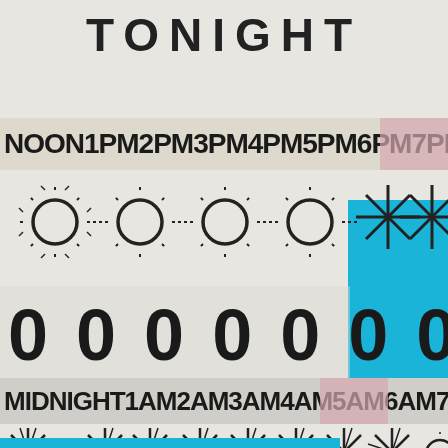TONIGHT
NOON1PM2PM3PM4PM5PM6PM7PM8PM
[Figure (illustration): Row of sun/circle symbols with radiating dashes, transitioning to starburst symbols on right side with blue background]
0 0 0 0 0 0 0 7 7
MIDNIGHT1AM2AM3AM4AM5AM6AM7AM
[Figure (illustration): Row of starburst/asterisk symbols with blue band at bottom, transitioning to a sun circle on right]